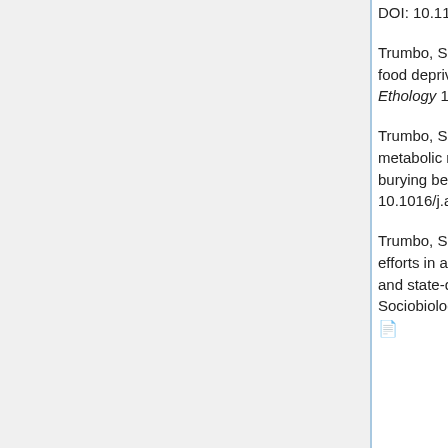DOI: 10.1111/phen.12110
Trumbo, S.T. & Xhihani, E. 2015. Influences of parental care and food deprivation on regulation of body mass in a burying beetle. Ethology 121: 985-993. DOI: 10.1111/eth.12413
Trumbo, S.T. and Rauter, C.M. 2014. Juvenile hormone, metabolic rate, body mass and longevity costs in parenting burying beetles. Animal Behaviour 92: 203-211. DOI: 10.1016/j.anbehav.2014.04.004.
Trumbo, S.T. 2012. Contest behavior and other reproductive efforts in aging breeders: a test of residual reproductive value and state-dependent models. Behavioral Ecology and Sociobiology 66: 1511-1518. DOI: 10.1007/s00265-012-1406-4.